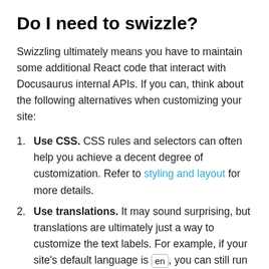Do I need to swizzle?
Swizzling ultimately means you have to maintain some additional React code that interact with Docusaurus internal APIs. If you can, think about the following alternatives when customizing your site:
Use CSS. CSS rules and selectors can often help you achieve a decent degree of customization. Refer to styling and layout for more details.
Use translations. It may sound surprising, but translations are ultimately just a way to customize the text labels. For example, if your site's default language is en, you can still run yarn write-translations -l en and edit the